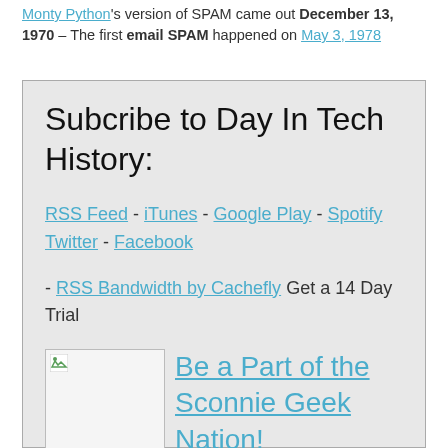Monty Python's version of SPAM came out December 13, 1970 – The first email SPAM happened on May 3, 1978
Subcribe to Day In Tech History:
RSS Feed - iTunes - Google Play - Spotify Twitter - Facebook
- RSS Bandwidth by Cachefly Get a 14 Day Trial
[Figure (other): Broken image placeholder with small green icon in top-left corner]
Be a Part of the Sconnie Geek Nation!